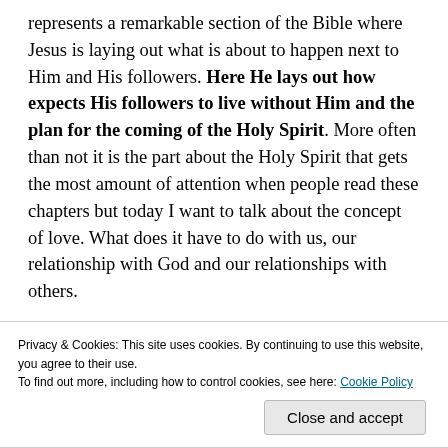represents a remarkable section of the Bible where Jesus is laying out what is about to happen next to Him and His followers. Here He lays out how expects His followers to live without Him and the plan for the coming of the Holy Spirit. More often than not it is the part about the Holy Spirit that gets the most amount of attention when people read these chapters but today I want to talk about the concept of love. What does it have to do with us, our relationship with God and our relationships with others.
One of the hallmarks about the life of Jesus that even people outside of the church are not shy to talk about
Privacy & Cookies: This site uses cookies. By continuing to use this website, you agree to their use. To find out more, including how to control cookies, see here: Cookie Policy